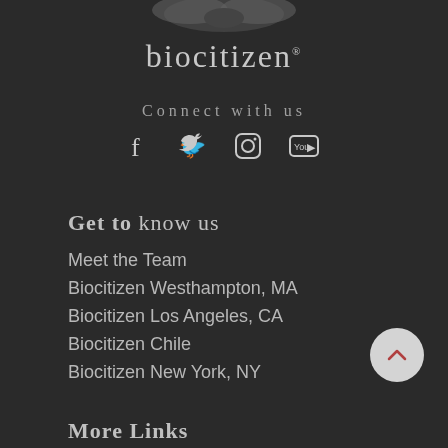[Figure (logo): Biocitizen logo with stylized wing/leaf graphic above the text]
biocitizen
Connect with us
[Figure (infographic): Social media icons: Facebook, Twitter, Instagram, YouTube]
Get to know us
Meet the Team
Biocitizen Westhampton, MA
Biocitizen Los Angeles, CA
Biocitizen Chile
Biocitizen New York, NY
More Links